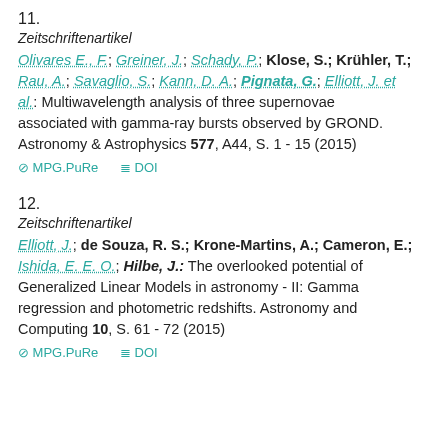11.
Zeitschriftenartikel
Olivares E., F.; Greiner, J.; Schady, P.; Klose, S.; Krühler, T.; Rau, A.; Savaglio, S.; Kann, D. A.; Pignata, G.; Elliott, J. et al.: Multiwavelength analysis of three supernovae associated with gamma-ray bursts observed by GROND. Astronomy & Astrophysics 577, A44, S. 1 - 15 (2015)
MPG.PuRe   DOI
12.
Zeitschriftenartikel
Elliott, J.; de Souza, R. S.; Krone-Martins, A.; Cameron, E.; Ishida, E. E. O.; Hilbe, J.: The overlooked potential of Generalized Linear Models in astronomy - II: Gamma regression and photometric redshifts. Astronomy and Computing 10, S. 61 - 72 (2015)
MPG.PuRe   DOI